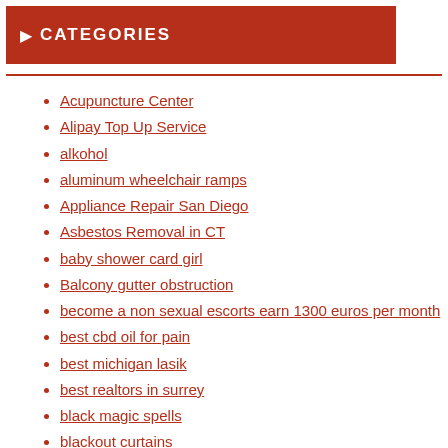CATEGORIES
Acupuncture Center
Alipay Top Up Service
alkohol
aluminum wheelchair ramps
Appliance Repair San Diego
Asbestos Removal in CT
baby shower card girl
Balcony gutter obstruction
become a non sexual escorts earn 1300 euros per month
best cbd oil for pain
best michigan lasik
best realtors in surrey
black magic spells
blackout curtains
bodybuilding
Bohemia - A Fraud Rapper
Boutique Dresses
broker